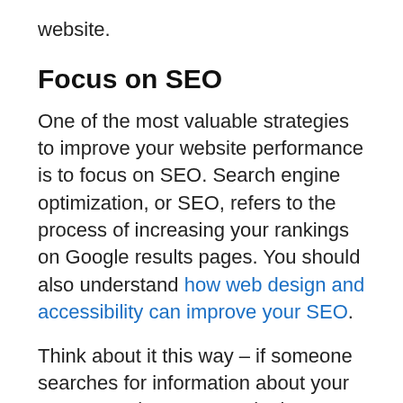website.
Focus on SEO
One of the most valuable strategies to improve your website performance is to focus on SEO. Search engine optimization, or SEO, refers to the process of increasing your rankings on Google results pages. You should also understand how web design and accessibility can improve your SEO.
Think about it this way – if someone searches for information about your programs, they won't make it to your website if it's not on the